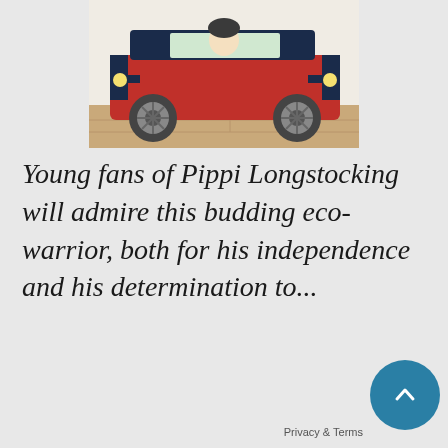[Figure (illustration): Partial view of a children's book cover showing a red car or vehicle with blue trim and large wheels, with a figure visible through the window, against a light background.]
Young fans of Pippi Longstocking will admire this budding eco-warrior, both for his independence and his determination to...
+ BOOKSHELF